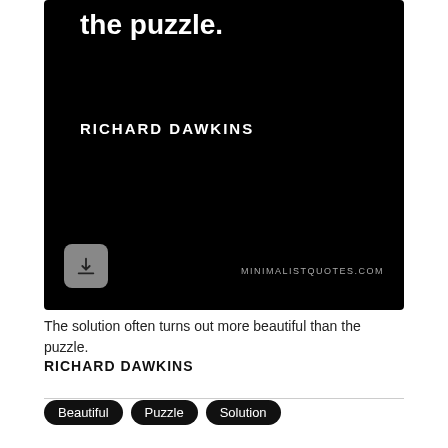[Figure (illustration): Black background quote card showing partial text 'the puzzle.' in large white bold font, 'RICHARD DAWKINS' in white spaced caps below, a grey download button at bottom-left, and MINIMALISTQUOTES.COM watermark at bottom-right.]
The solution often turns out more beautiful than the puzzle.
RICHARD DAWKINS
Beautiful
Puzzle
Solution